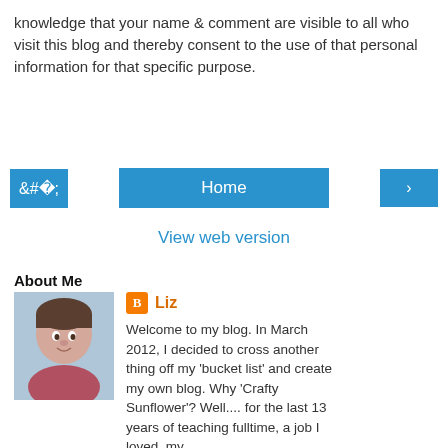knowledge that your name & comment are visible to all who visit this blog and thereby consent to the use of that personal information for that specific purpose.
[Figure (other): Navigation buttons row: left arrow button, Home button, right arrow button]
View web version
About Me
[Figure (photo): Profile photo of a woman with short dark hair wearing a floral top, smiling]
Liz
Welcome to my blog. In March 2012, I decided to cross another thing off my 'bucket list' and create my own blog. Why 'Crafty Sunflower'? Well.... for the last 13 years of teaching fulltime, a job I loved, my Reception class was called Sunflower Class. For more than 13 years I've collected anything sunflower related! I've enjoyed a variety of crafts for as long as I can remember and these days making cards is what I enjoy most. Having benefited from the inspiration of others, I hope to pass on some of my ideas to anyone who visits my blog. If